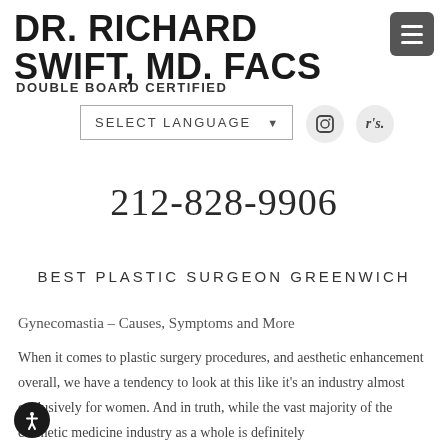DR. RICHARD SWIFT, MD. FACS
DOUBLE BOARD CERTIFIED
SELECT LANGUAGE
212-828-9906
BEST PLASTIC SURGEON GREENWICH
Gynecomastia – Causes, Symptoms and More
When it comes to plastic surgery procedures, and aesthetic enhancement overall, we have a tendency to look at this like it's an industry almost exclusively for women. And in truth, while the vast majority of the cosmetic medicine industry as a whole is definitely